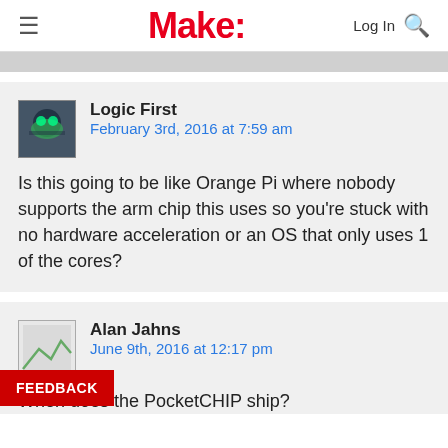Make:
Logic First
February 3rd, 2016 at 7:59 am
Is this going to be like Orange Pi where nobody supports the arm chip this uses so you're stuck with no hardware acceleration or an OS that only uses 1 of the cores?
Alan Jahns
June 9th, 2016 at 12:17 pm
When does the PocketCHIP ship?